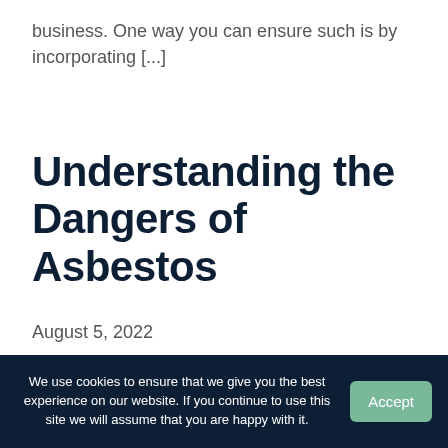business. One way you can ensure such is by incorporating [...]
Understanding the Dangers of Asbestos
August 5, 2022
While you may know asbestos can be found in your home, did you know it can also take residence in [...]
The Impact HVAC
We use cookies to ensure that we give you the best experience on our website. If you continue to use this site we will assume that you are happy with it. Accept